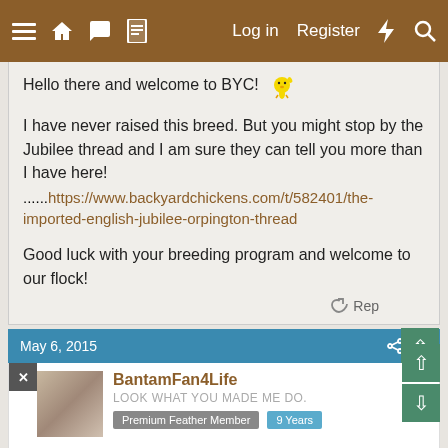≡  🏠  💬  📄   Log in   Register  ⚡  🔍
Hello there and welcome to BYC! [emoji]

I have never raised this breed. But you might stop by the Jubilee thread and I am sure they can tell you more than I have here!
......https://www.backyardchickens.com/t/582401/the-imported-english-jubilee-orpington-thread

Good luck with your breeding program and welcome to our flock!
↩ Rep
May 6, 2015   #3
BantamFan4Life
LOOK WHAT YOU MADE ME DO.
Premium Feather Member   9 Years